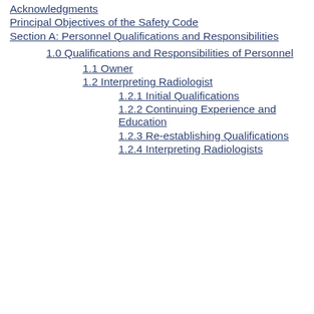Acknowledgments
Principal Objectives of the Safety Code
Section A: Personnel Qualifications and Responsibilities
1.0 Qualifications and Responsibilities of Personnel
1.1 Owner
1.2 Interpreting Radiologist
1.2.1 Initial Qualifications
1.2.2 Continuing Experience and Education
1.2.3 Re-establishing Qualifications
1.2.4 Interpreting Radiologists